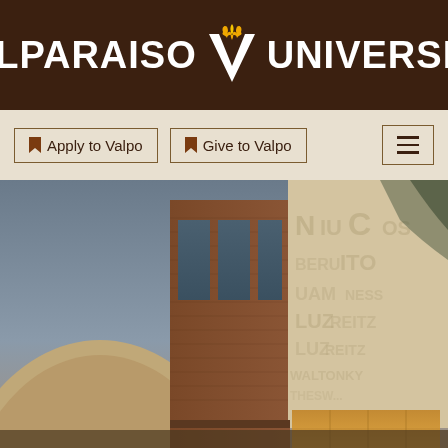VALPARAISO UNIVERSITY
Apply to Valpo
Give to Valpo
[Figure (photo): Exterior photograph of Valparaiso University campus building showing brick architecture and a decorative facade with cutout letter patterns, illuminated from within against a dusk sky]